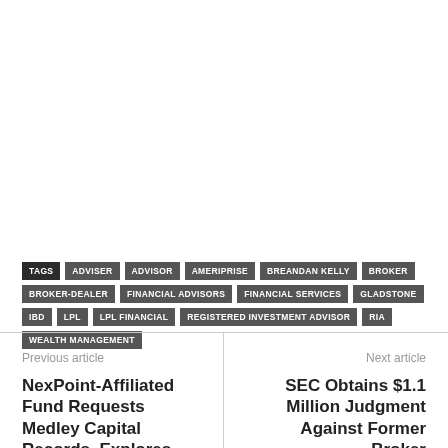TAGS ADVISER ADVISOR AMERIPRISE BREANDAN KELLY BROKER BROKER-DEALER FINANCIAL ADVISORS FINANCIAL SERVICES GLADSTONE IBD LPL LPL FINANCIAL REGISTERED INVESTMENT ADVISOR RIA WEALTH MANAGEMENT
Previous article
NexPoint-Affiliated Fund Requests Medley Capital Records, Explores
Next article
SEC Obtains $1.1 Million Judgment Against Former Broker